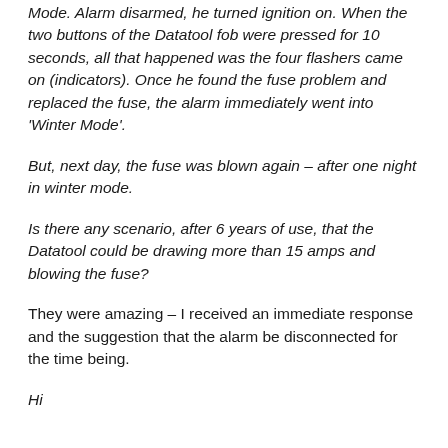Mode. Alarm disarmed, he turned ignition on. When the two buttons of the Datatool fob were pressed for 10 seconds, all that happened was the four flashers came on (indicators). Once he found the fuse problem and replaced the fuse, the alarm immediately went into 'Winter Mode'.
But, next day, the fuse was blown again – after one night in winter mode.
Is there any scenario, after 6 years of use, that the Datatool could be drawing more than 15 amps and blowing the fuse?
They were amazing – I received an immediate response and the suggestion that the alarm be disconnected for the time being.
Hi